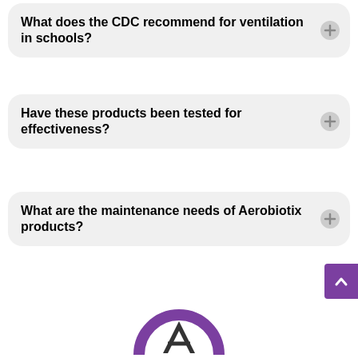What does the CDC recommend for ventilation in schools?
Have these products been tested for effectiveness?
What are the maintenance needs of Aerobiotix products?
[Figure (logo): Aerobiotix logo — purple circle with a stylized 'A' inside, partially cropped at bottom of page]